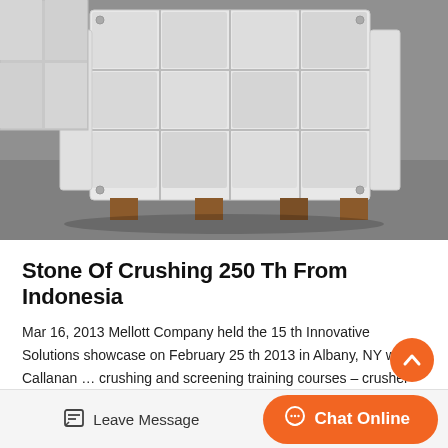[Figure (photo): White industrial stone crusher machine sitting on wooden pallets on a concrete floor, viewed from the front showing its grid-like metal structure]
Stone Of Crushing 250 Th From Indonesia
Mar 16, 2013 Mellott Company held the 15 th Innovative Solutions showcase on February 25 th 2013 in Albany, NY with Callanan … crushing and screening training courses – crusher mining … elearning ? training and assessment course. aots all new certificat…
[Figure (photo): Partial view of industrial equipment with a hook/crane element visible against a corrugated metal background]
Leave Message  Chat Online